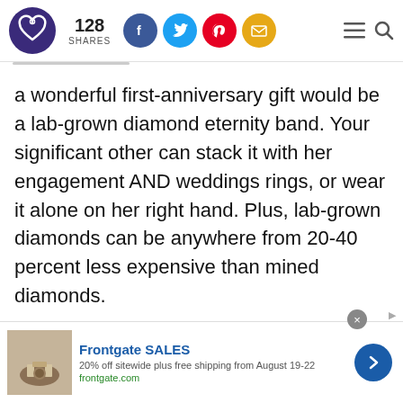128 SHARES — social share bar with Facebook, Twitter, Pinterest, Email icons
a wonderful first-anniversary gift would be a lab-grown diamond eternity band. Your significant other can stack it with her engagement AND weddings rings, or wear it alone on her right hand. Plus, lab-grown diamonds can be anywhere from 20-40 percent less expensive than mined diamonds.
[Figure (infographic): Advertisement banner for Frontgate SALES — 20% off sitewide plus free shipping from August 19-22, frontgate.com, with outdoor furniture image and blue arrow button]